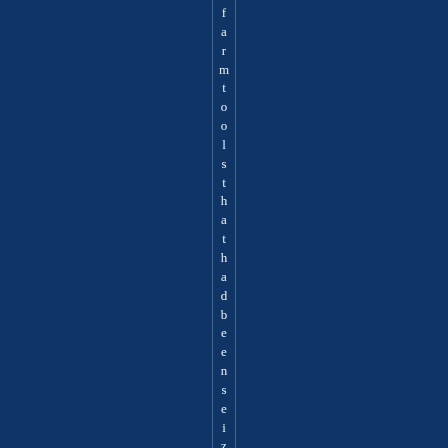farm tools that had been seized, etc